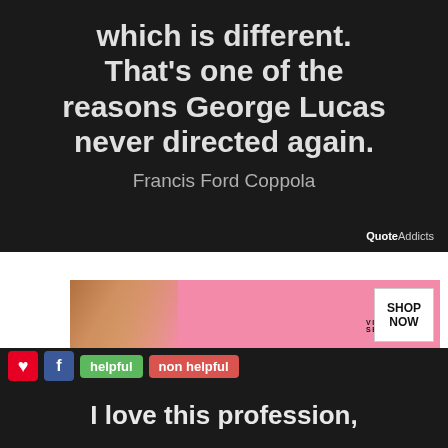which is different. That's one of the reasons George Lucas never directed again.
Francis Ford Coppola
[Figure (screenshot): QuoteAddicts watermark logo in bottom right of dark quote card]
[Figure (screenshot): Victoria's Secret advertisement banner with model, VS logo, 'SHOP THE COLLECTION' text, and 'SHOP NOW' button]
helpful   non helpful
I love this profession,